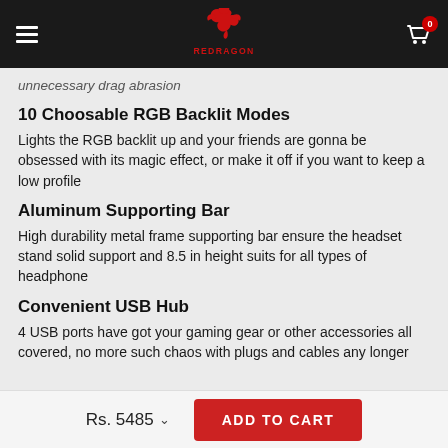REDRAGON (logo/navigation bar)
unnecessary drag abrasion
10 Choosable RGB Backlit Modes
Lights the RGB backlit up and your friends are gonna be obsessed with its magic effect, or make it off if you want to keep a low profile
Aluminum Supporting Bar
High durability metal frame supporting bar ensure the headset stand solid support and 8.5 in height suits for all types of headphone
Convenient USB Hub
4 USB ports have got your gaming gear or other accessories all covered, no more such chaos with plugs and cables any longer
Rs. 5485  ADD TO CART